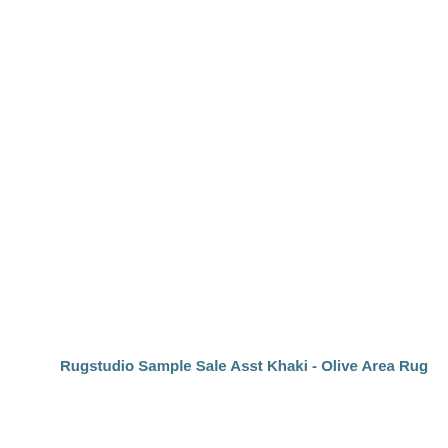Rugstudio Sample Sale Asst Khaki - Olive Area Rug